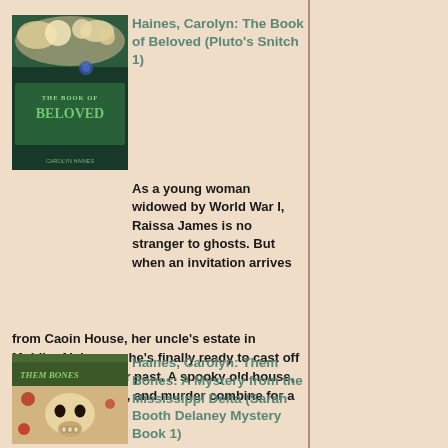[Figure (photo): Book cover of 'The Book of Beloved' by Carolyn Haines, showing a dark mystical cover with flowers and the title in green text]
Haines, Carolyn: The Book of Beloved (Pluto's Snitch 1)
As a young woman widowed by World War I, Raissa James is no stranger to ghosts. But when an invitation arrives from Caoin House, her uncle's estate in Mobile, Alabama, she's finally ready to cast off the shadows of her past. A spooky old house, a gaggle of ghosts, and murder combine for a chilling read. (****)
[Figure (photo): Book cover of 'Them Bones: A Mystery from the Mississippi Delta' by Carolyn Haines, showing a skull and decorative elements]
Haines, Carolyn: Them Bones: A Mystery from the Mississippi Delta (Sarah Booth Delaney Mystery Book 1)
First in the Sarah Booth Delaney mysteries. Sarah